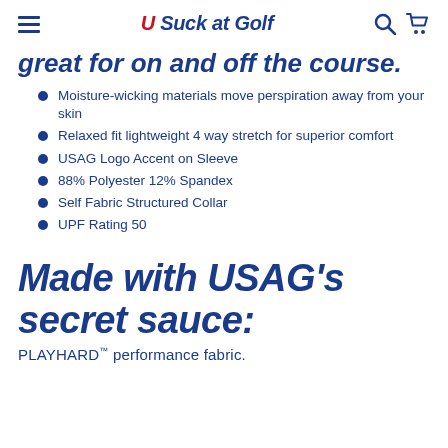U Suck at Golf
great for on and off the course.
Moisture-wicking materials move perspiration away from your skin
Relaxed fit lightweight 4 way stretch for superior comfort
USAG Logo Accent on Sleeve
88% Polyester 12% Spandex
Self Fabric Structured Collar
UPF Rating 50
Made with USAG's secret sauce:
PLAYHARD™ performance fabric.